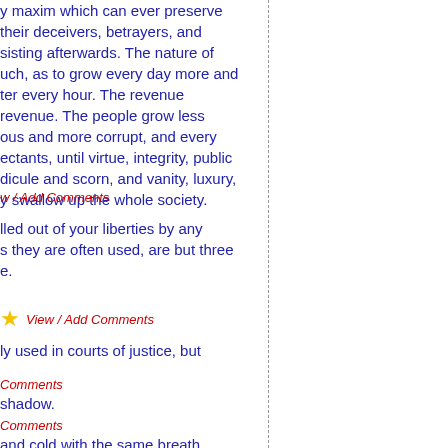y maxim which can ever preserve their deceivers, betrayers, and sisting afterwards. The nature of uch, as to grow every day more and ter every hour. The revenue revenue. The people grow less ous and more corrupt, and every ectants, until virtue, integrity, public dicule and scorn, and vanity, luxury, y swallow up the whole society.
w / Add Comments
lled out of your liberties by any s they are often used, are but three e.
View / Add Comments
ly used in courts of justice, but
Comments
shadow.
Comments
and cold with the same breath.
Add Comments